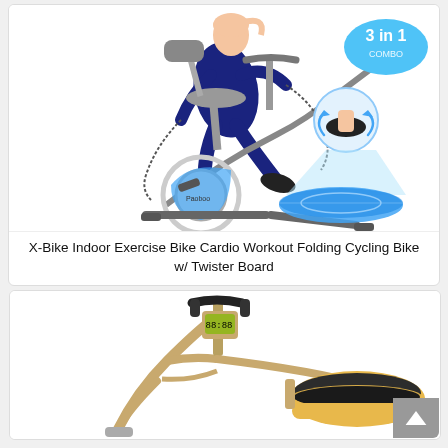[Figure (photo): X-Bike indoor exercise bike with folding cycling design, resistance bands, back support, and a blue twister board. Shows a person riding the bike. Badge reads '3 in 1'. Inset shows foot on twister disc.]
X-Bike Indoor Exercise Bike Cardio Workout Folding Cycling Bike w/ Twister Board
[Figure (photo): Second exercise bike product image showing a foldable stationary bike with gold/tan frame, black handlebar with digital display, and a wide cushioned seat with black and yellow padding.]